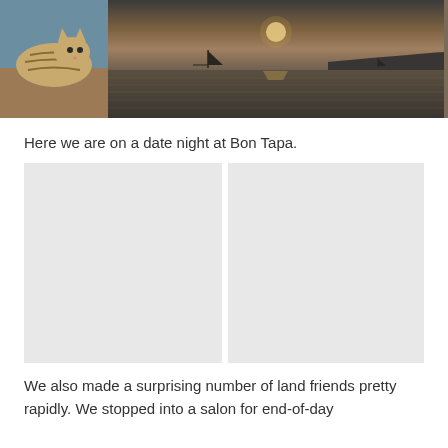[Figure (photo): Two photos side by side at the top: left shows a tabby cat lying on what appears to be a blue surface; right shows a seascape at sunset/dusk with a sailboat silhouette and mountains in the background.]
Here we are on a date night at Bon Tapa.
[Figure (photo): Two side-by-side placeholder/loading images shown as light gray rectangles, representing photos from a date night at Bon Tapa.]
We also made a surprising number of land friends pretty rapidly. We stopped into a salon for end-of-day